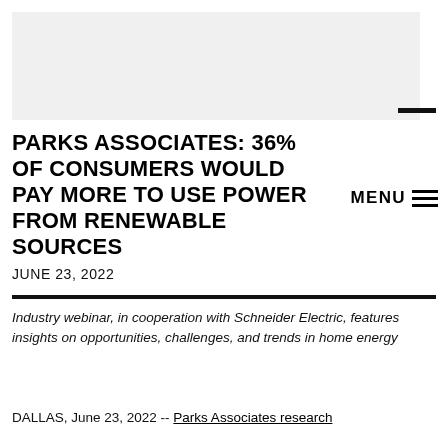[Figure (other): Light grey rectangle placeholder image at top of page]
PARKS ASSOCIATES: 36% OF CONSUMERS WOULD PAY MORE TO USE POWER FROM RENEWABLE SOURCES
JUNE 23, 2022
Industry webinar, in cooperation with Schneider Electric, features insights on opportunities, challenges, and trends in home energy
DALLAS, June 23, 2022 -- Parks Associates research